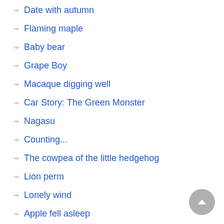Date with autumn
Flaming maple
Baby bear
Grape Boy
Macaque digging well
Car Story: The Green Monster
Nagasu
Counting...
The cowpea of the little hedgehog
Lion perm
Lonely wind
Apple fell asleep
Powersway